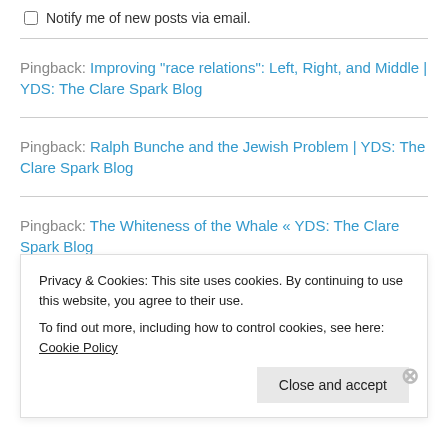Notify me of new posts via email.
Pingback: Improving “race relations”: Left, Right, and Middle | YDS: The Clare Spark Blog
Pingback: Ralph Bunche and the Jewish Problem | YDS: The Clare Spark Blog
Pingback: The Whiteness of the Whale « YDS: The Clare Spark Blog
Privacy & Cookies: This site uses cookies. By continuing to use this website, you agree to their use. To find out more, including how to control cookies, see here: Cookie Policy
Close and accept